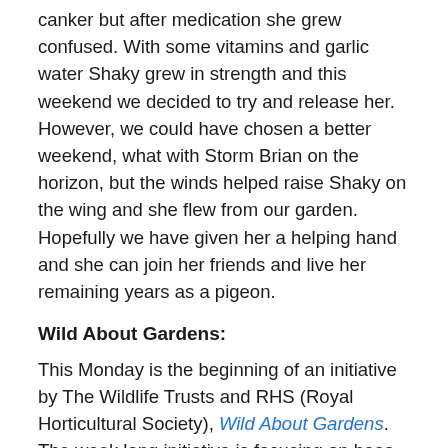canker but after medication she grew confused. With some vitamins and garlic water Shaky grew in strength and this weekend we decided to try and release her. However, we could have chosen a better weekend, what with Storm Brian on the horizon, but the winds helped raise Shaky on the wing and she flew from our garden. Hopefully we have given her a helping hand and she can join her friends and live her remaining years as a pigeon.
Wild About Gardens:
This Monday is the beginning of an initiative by The Wildlife Trusts and RHS (Royal Horticultural Society), Wild About Gardens. The week long initiative is focusing on bees and what we can do to attract them to our gardens. There is a downloadable pack that gives useful information. You can help by building homes to growing